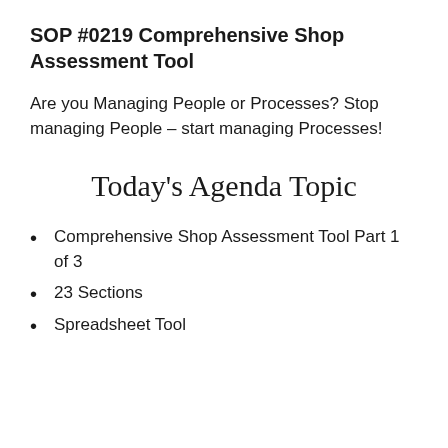SOP #0219 Comprehensive Shop Assessment Tool
Are you Managing People or Processes? Stop managing People – start managing Processes!
Today's Agenda Topic
Comprehensive Shop Assessment Tool Part 1 of 3
23 Sections
Spreadsheet Tool